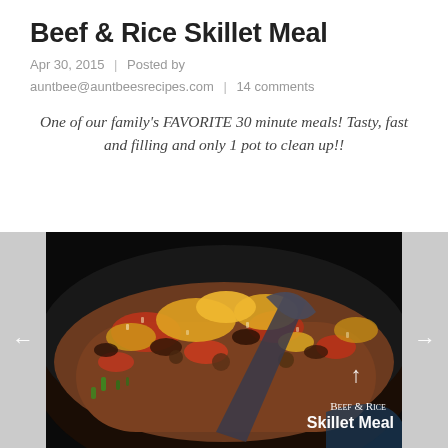Beef & Rice Skillet Meal
Apr 30, 2015  |  Posted by auntbee@auntbeesrecipes.com  |  14 comments
One of our family's FAVORITE 30 minute meals!  Tasty, fast and filling and only 1 pot to clean up!!
[Figure (photo): Close-up photo of a beef and rice skillet meal being served with a spatula from a dark skillet. The dish contains ground beef, rice, tomatoes, mushrooms, and melted cheese. Overlay text reads 'Beef & Rice Skillet Meal'.]